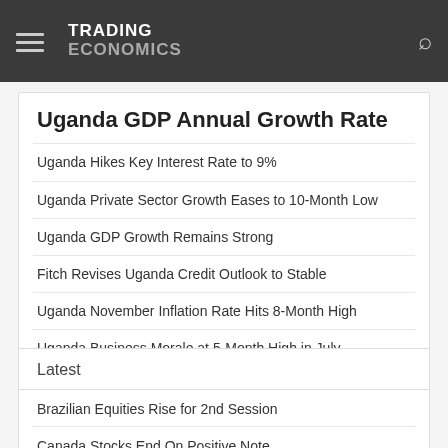TRADING ECONOMICS
Uganda GDP Annual Growth Rate
Uganda Hikes Key Interest Rate to 9%
Uganda Private Sector Growth Eases to 10-Month Low
Uganda GDP Growth Remains Strong
Fitch Revises Uganda Credit Outlook to Stable
Uganda November Inflation Rate Hits 8-Month High
Uganda Business Morale at 5-Month High in July
Uganda Trade Gap Widens in January
Latest
Brazilian Equities Rise for 2nd Session
Canada Stocks End On Positive Note